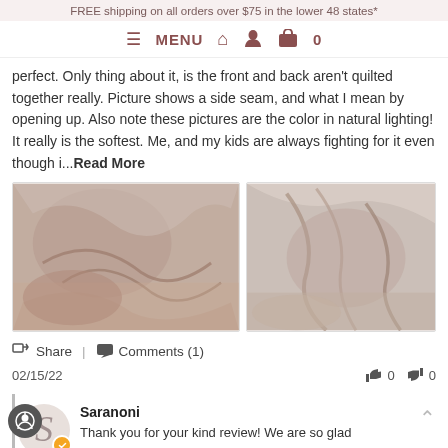FREE shipping on all orders over $75 in the lower 48 states*
≡ MENU 🏠 👤 🛍 0
perfect. Only thing about it, is the front and back aren't quilted together really. Picture shows a side seam, and what I mean by opening up. Also note these pictures are the color in natural lighting! It really is the softest. Me, and my kids are always fighting for it even though i...Read More
[Figure (photo): Two photos of a soft plush blanket in natural lighting showing texture and seam]
Share | Comments (1)
02/15/22
0  0
Saranoni
Thank you for your kind review! We are so glad